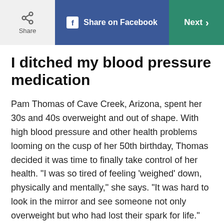Share | Share on Facebook | Next
I ditched my blood pressure medication
Pam Thomas of Cave Creek, Arizona, spent her 30s and 40s overweight and out of shape. With high blood pressure and other health problems looming on the cusp of her 50th birthday, Thomas decided it was time to finally take control of her health. “I was so tired of feeling ‘weighed’ down, physically and mentally,” she says. “It was hard to look in the mirror and see someone not only overweight but who had lost their spark for life.”
She started by tackling problem number one: her alcohol intake. She cut her drinking down to just